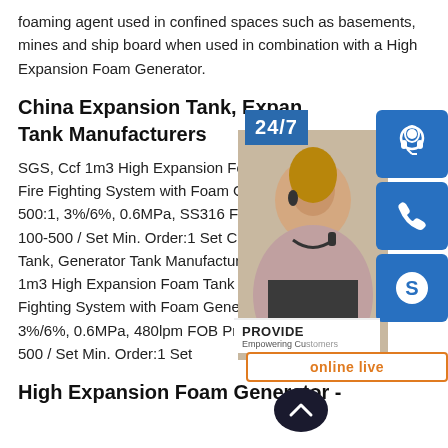foaming agent used in confined spaces such as basements, mines and ship board when used in combination with a High Expansion Foam Generator.
China Expansion Tank, Expansion Tank Manufacturers
SGS, Ccf 1m3 High Expansion Foam Tank for Fire Fighting System with Foam Generator, 500:1, 3%/6%, 0.6MPa, SS316 FOB Price:US $ 100-500 / Set Min. Order:1 Set China Expansion Tank, Generator Tank Manufacturers SGS, Ccf 1m3 High Expansion Foam Tank for Fire Fighting System with Foam Generator, 500:1, 3%/6%, 0.6MPa, 480lpm FOB Price:US $ 100-500 / Set Min. Order:1 Set
High Expansion Foam Generator -
[Figure (infographic): Customer service widget overlay showing a headset icon button, phone icon button, Skype icon button, 24/7 label, a customer service representative photo, PROVIDE Empowering Customers text, online live button, and scroll-up arrow button.]